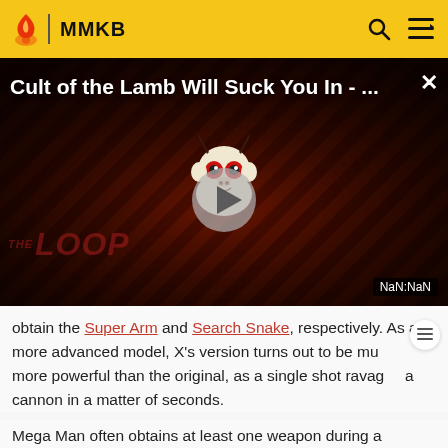MMKB
[Figure (screenshot): Video thumbnail for 'Cult of the Lamb Will Suck You In - ...' showing a cartoon creature with red eyes on a diagonal striped dark red background, with a play button in the center, 'THE LOOP' text in dark red, and NaN:NaN time badge.]
obtain the Super Arm and Search Snake, respectively. As a more advanced model, X's version turns out to be much more powerful than the original, as a single shot ravages a cannon in a matter of seconds.
Mega Man often obtains at least one weapon during a